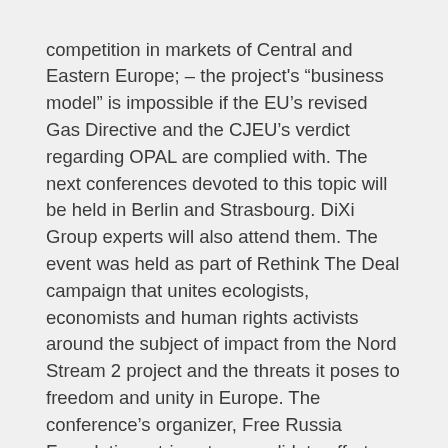competition in markets of Central and Eastern Europe; – the project's "business model" is impossible if the EU's revised Gas Directive and the CJEU's verdict regarding OPAL are complied with. The next conferences devoted to this topic will be held in Berlin and Strasbourg. DiXi Group experts will also attend them. The event was held as part of Rethink The Deal campaign that unites ecologists, economists and human rights activists around the subject of impact from the Nord Stream 2 project and the threats it poses to freedom and unity in Europe. The conference's organizer, Free Russia Foundation, strives to consolidate efforts aimed to restore freedom and democracy in Russia, support pro-democracy forces inside Russia and work with Western expert communities.